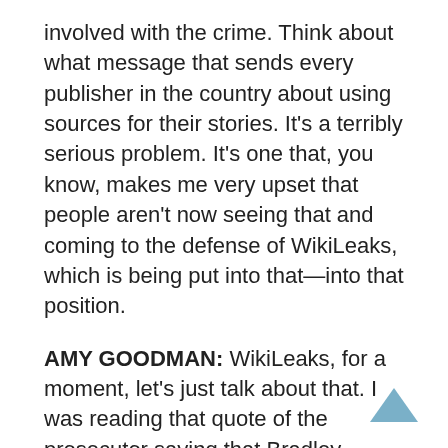involved with the crime. Think about what message that sends every publisher in the country about using sources for their stories. It's a terribly serious problem. It's one that, you know, makes me very upset that people aren't now seeing that and coming to the defense of WikiLeaks, which is being put into that—into that position.
AMY GOODMAN: WikiLeaks, for a moment, let's just talk about that. I was reading that quote of the prosecutor saying that Bradley Manning deliberately and intentionally disclosed compromised information through WikiLeaks to the